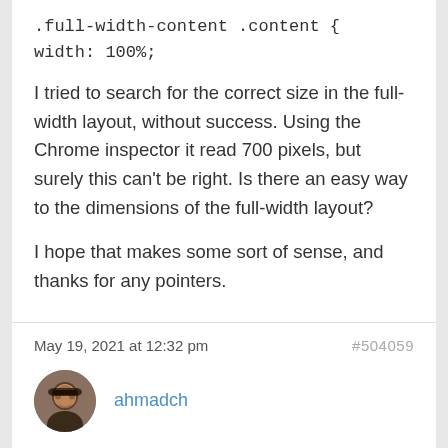.full-width-content .content {
width: 100%;
I tried to search for the correct size in the full-width layout, without success. Using the Chrome inspector it read 700 pixels, but surely this can't be right. Is there an easy way to the dimensions of the full-width layout?
I hope that makes some sort of sense, and thanks for any pointers.
May 19, 2021 at 12:32 pm    #504059
ahmadch